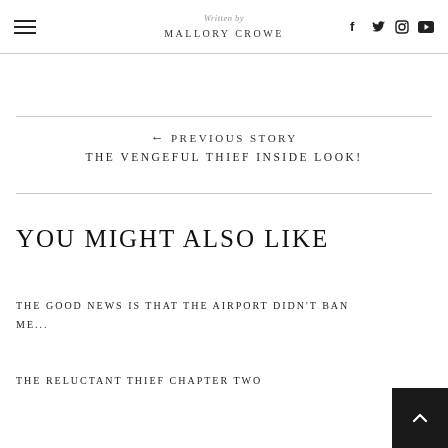Written by MALLORY CROWE
← PREVIOUS STORY
THE VENGEFUL THIEF INSIDE LOOK!
YOU MIGHT ALSO LIKE
THE GOOD NEWS IS THAT THE AIRPORT DIDN'T BAN ME...
THE RELUCTANT THIEF CHAPTER TWO